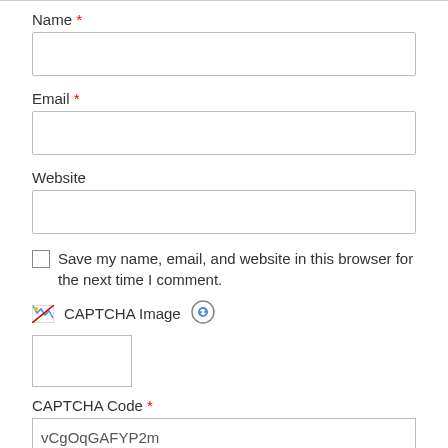Name *
[Figure (other): Empty text input field for Name]
Email *
[Figure (other): Empty text input field for Email]
Website
[Figure (other): Empty text input field for Website]
Save my name, email, and website in this browser for the next time I comment.
[Figure (other): CAPTCHA image placeholder with broken image icon and refresh button icon]
[Figure (other): Empty CAPTCHA image box]
CAPTCHA Code *
[Figure (other): CAPTCHA code input field pre-filled with vCgOqGAFYP2m]